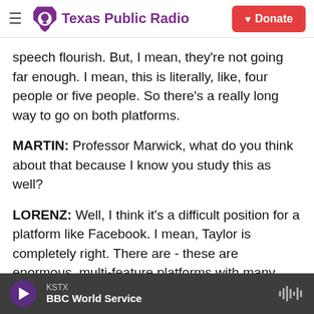Texas Public Radio | Donate
speech flourish. But, I mean, they're not going far enough. I mean, this is literally, like, four people or five people. So there's a really long way to go on both platforms.
MARTIN: Professor Marwick, what do you think about that because I know you study this as well?
LORENZ: Well, I think it's a difficult position for a platform like Facebook. I mean, Taylor is completely right. There are - these are enormous, multi-feature platforms with many different ways for people to engage. And, as a result, it's not just
KSTX
BBC World Service